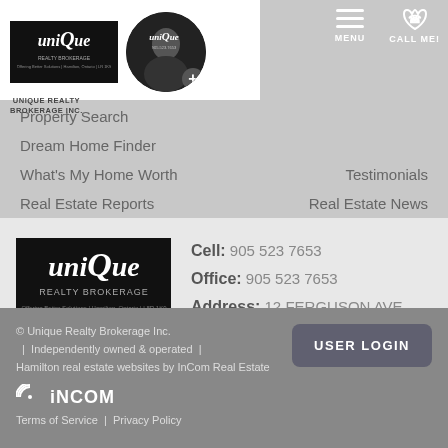[Figure (logo): Unique Realty Brokerage Inc. logo in white text on black background, small version in dropdown]
[Figure (photo): Circular profile photo of a man in front of a car with a + button, with Unique logo on circle]
UNIQUE REALTY BROKERAGE INC.
MENU
CALL ME!
Property Search
Dream Home Finder
What's My Home Worth
Testimonials
Real Estate Reports
Real Estate News
[Figure (logo): Unique Realty Brokerage Inc. logo larger version on black background]
UNIQUE REALTY BROKERAGE INC.
Cell:  905 523 7653
Office:  905 523 7653
Address:  12 FERGUSON AVE, Hamilton, Ontario, L8R 1K9
© Unique Realty Brokerage Inc.  |  Independently owned & operated  |  Hamilton real estate websites by InCom Real Estate
Terms of Service  |  Privacy Policy